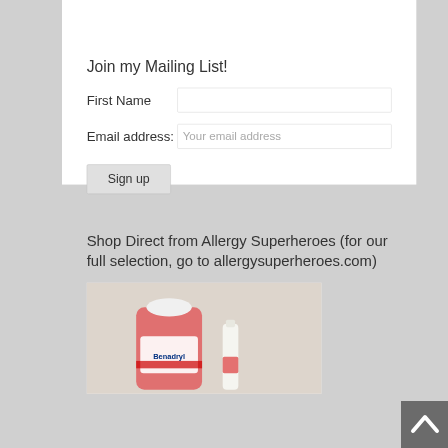Join my Mailing List!
First Name
Email address:  Your email address
Sign up
Shop Direct from Allergy Superheroes (for our full selection, go to allergysuperheroes.com)
[Figure (photo): Photo of Benadryl liquid bottle and a small spray bottle on a light background]